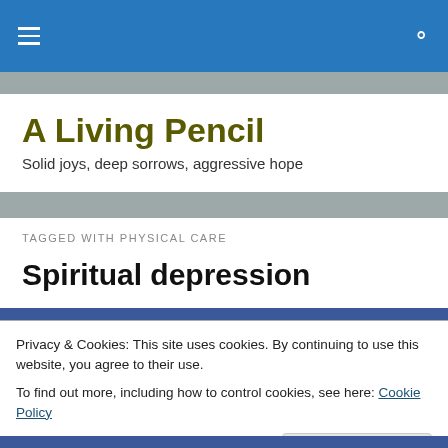A Living Pencil — navigation bar
A Living Pencil
Solid joys, deep sorrows, aggressive hope
TAGGED WITH PHYSICAL CARE
Spiritual depression
Privacy & Cookies: This site uses cookies. By continuing to use this website, you agree to their use.
To find out more, including how to control cookies, see here: Cookie Policy
Close and accept